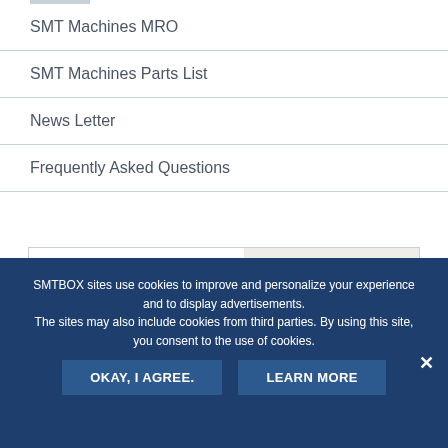SMT Machines MRO
SMT Machines Parts List
News Letter
Frequently Asked Questions
[Figure (illustration): Online Inquiry banner with woman wearing headset. Text: 'Online Inquiry', 'Friendly advice from our Support Team', 'click here' button.]
SMTBOX sites use cookies to improve and personalize your experience and to display advertisements. The sites may also include cookies from third parties. By using this site, you consent to the use of cookies.
OKAY, I AGREE.    LEARN MORE